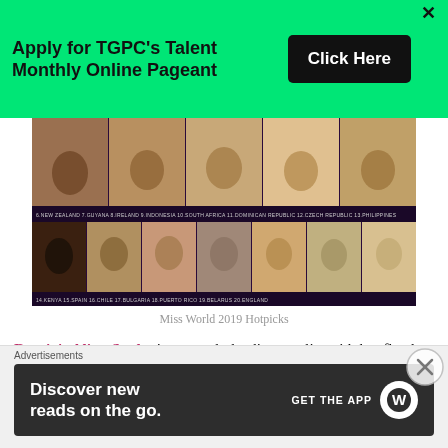[Figure (infographic): Green banner advertisement: Apply for TGPC's Talent Monthly Online Pageant with a Click Here button and X close button]
[Figure (photo): Miss World 2019 Hotpicks photo collage showing multiple contestants in two rows with country labels]
Miss World 2019 Hotpicks
Russia's Alina Sanko is currently leading our list with her flawless beauty and impeccable dressing style. Alina is getting some tough competition from India's Suman
[Figure (infographic): Advertisement banner: Discover new reads on the go. GET THE APP with WordPress logo]